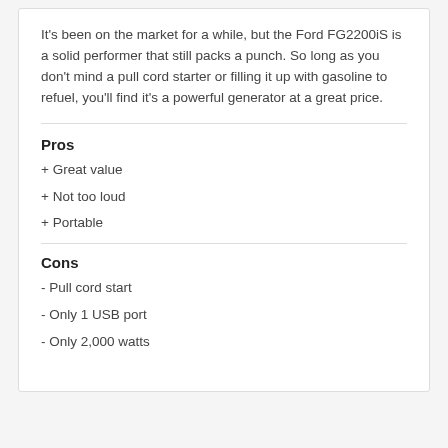It's been on the market for a while, but the Ford FG2200iS is a solid performer that still packs a punch. So long as you don't mind a pull cord starter or filling it up with gasoline to refuel, you'll find it's a powerful generator at a great price.
Pros
+ Great value
+ Not too loud
+ Portable
Cons
- Pull cord start
- Only 1 USB port
- Only 2,000 watts